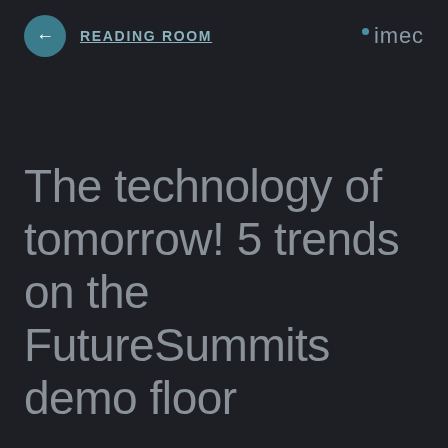← READING ROOM  imec
The technology of tomorrow! 5 trends on the FutureSummits demo floor
From 14 to 15 May, tech scientists,